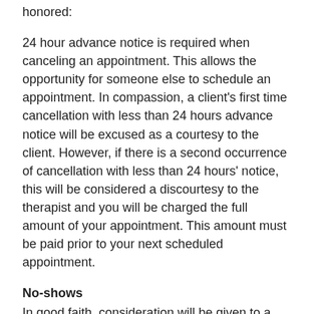honored:
24 hour advance notice is required when canceling an appointment. This allows the opportunity for someone else to schedule an appointment. In compassion, a client's first time cancellation with less than 24 hours advance notice will be excused as a courtesy to the client. However, if there is a second occurrence of cancellation with less than 24 hours' notice, this will be considered a discourtesy to the therapist and you will be charged the full amount of your appointment. This amount must be paid prior to your next scheduled appointment.
No-shows
In good faith, consideration will be given to a first time no-show as a courtesy of understanding and compassion. However, anyone who either forgets or consciously chooses to forgo their appointment a second time for whatever reason, will be considered as having a lack of